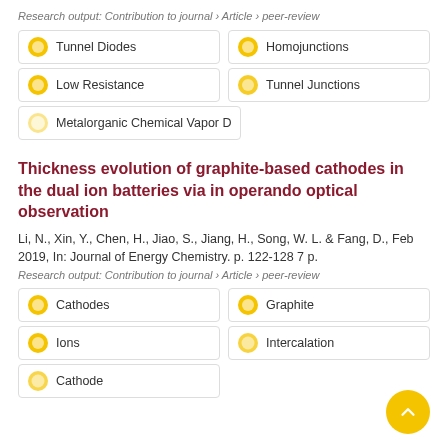Research output: Contribution to journal › Article › peer-review
Tunnel Diodes
Homojunctions
Low Resistance
Tunnel Junctions
Metalorganic Chemical Vapor D
Thickness evolution of graphite-based cathodes in the dual ion batteries via in operando optical observation
Li, N., Xin, Y., Chen, H., Jiao, S., Jiang, H., Song, W. L. & Fang, D., Feb 2019, In: Journal of Energy Chemistry. p. 122-128 7 p.
Research output: Contribution to journal › Article › peer-review
Cathodes
Graphite
Ions
Intercalation
Cathode